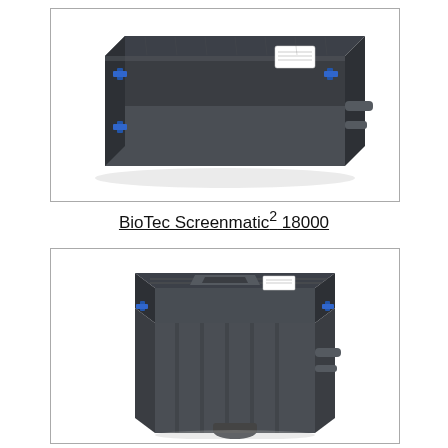[Figure (photo): BioTec Screenmatic² 18000 filter unit shown from an angled top-front view. Large dark grey rectangular plastic box with lid, blue latch clips on sides, pipe connections on right side, and a white label on top.]
BioTec Screenmatic² 18000
[Figure (photo): BioTec Screenmatic² filter unit shown from a close-up angled top view, revealing the ribbed tall body, lid with grooves, blue latch clips, pipe connections on the side, and a sunken central section on the lid.]